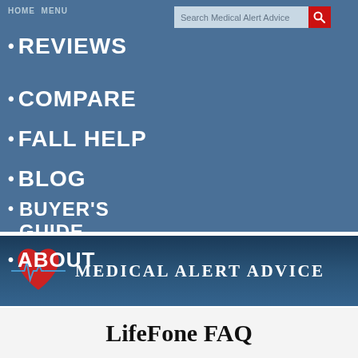HOME MENU
REVIEWS
COMPARE
FALL HELP
BLOG
BUYER'S GUIDE
ABOUT
[Figure (logo): Medical Alert Advice logo with red heart and blue EKG line, text reads MEDICAL ALERT ADVICE]
LifeFone FAQ